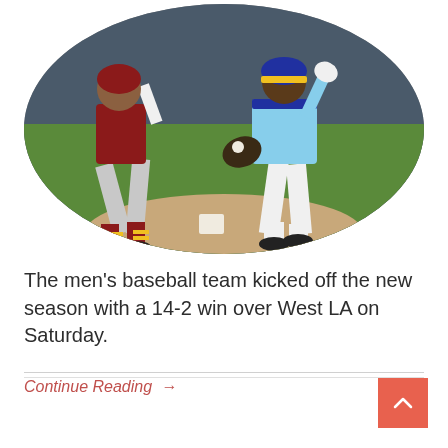[Figure (photo): Oval-cropped photo of two baseball players at a base. One player in red and grey uniform is running, the other in light blue and white uniform is fielding. Green grass and dirt base visible in background.]
The men's baseball team kicked off the new season with a 14-2 win over West LA on Saturday.
Continue Reading →